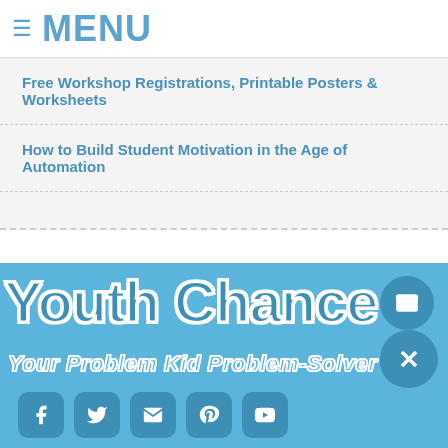≡ MENU
Free Workshop Registrations, Printable Posters & Worksheets
How to Build Student Motivation in the Age of Automation
[Figure (logo): Youth Change logo — large bold text reading 'Youth Chance' with subtitle 'Your Problem Kid Problem-Solver' on a blue background, along with social media icons (Facebook, Twitter, Email, Pinterest, YouTube) and circular button overlays for email, phone, and close actions.]